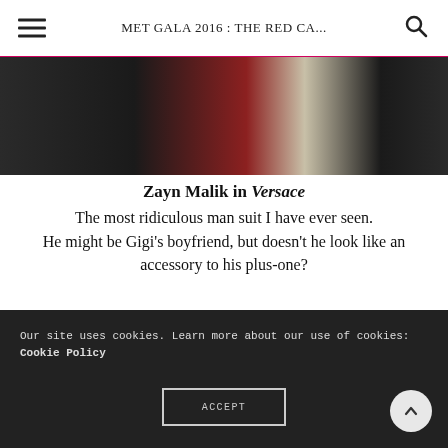MET GALA 2016 : THE RED CA...
[Figure (photo): Cropped photo showing fashion at the Met Gala 2016 red carpet — dark clothing against light background]
Zayn Malik in Versace
The most ridiculous man suit I have ever seen. He might be Gigi's boyfriend, but doesn't he look like an accessory to his plus-one?
Our site uses cookies. Learn more about our use of cookies: Cookie Policy
ACCEPT